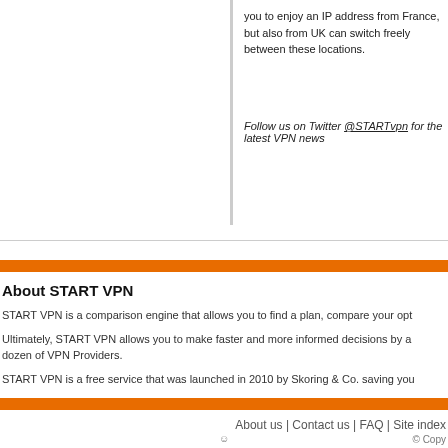you to enjoy an IP address from France, but also from UK can switch freely between these locations.
Follow us on Twitter @STARTvpn for the latest VPN news
About START VPN
START VPN is a comparison engine that allows you to find a plan, compare your opt
Ultimately, START VPN allows you to make faster and more informed decisions by a dozen of VPN Providers.
START VPN is a free service that was launched in 2010 by Skoring & Co. saving you
About us | Contact us | FAQ | Site index
© Copy
* ST4R